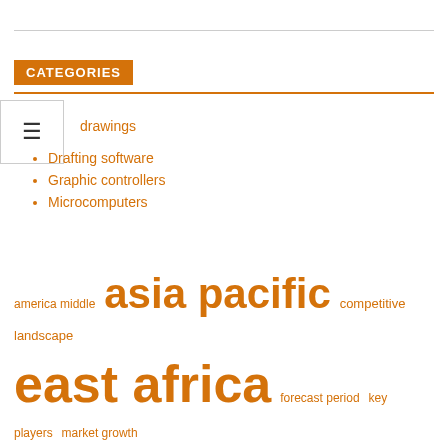CATEGORIES
drawings
Drafting software
Graphic controllers
Microcomputers
america middle  asia pacific  competitive landscape  east africa  forecast period  key players  market growth  market players  market report  market research  market size  middle east  north america  south america  united states